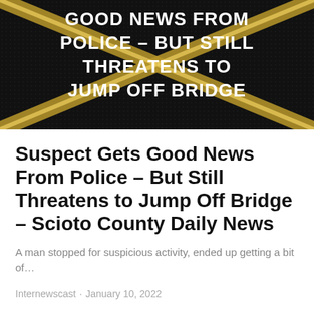[Figure (illustration): Dark background graphic banner with gold X-shaped diagonal lines and white bold text reading: GOOD NEWS FROM POLICE – BUT STILL THREATENS TO JUMP OFF BRIDGE]
Suspect Gets Good News From Police – But Still Threatens to Jump Off Bridge – Scioto County Daily News
A man stopped for suspicious activity, ended up getting a bit of…
Internewscast · January 10, 2022